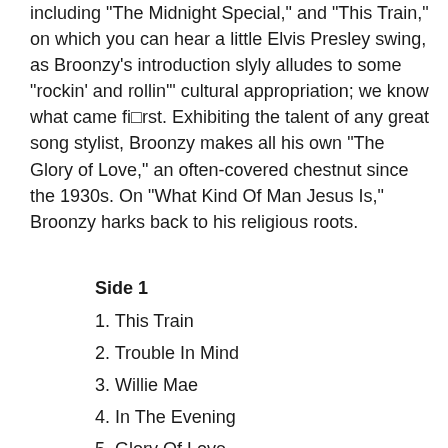including "The Midnight Special," and "This Train," on which you can hear a little Elvis Presley swing, as Broonzy's introduction slyly alludes to some "rockin' and rollin'" cultural appropriation; we know what came first. Exhibiting the talent of any great song stylist, Broonzy makes all his own "The Glory of Love," an often-covered chestnut since the 1930s. On "What Kind Of Man Jesus Is," Broonzy harks back to his religious roots.
Side 1
1. This Train
2. Trouble In Mind
3. Willie Mae
4. In The Evening
5. Glory Of Love
6. The Midnight Special
7. What Kind Of Man Jesus Is